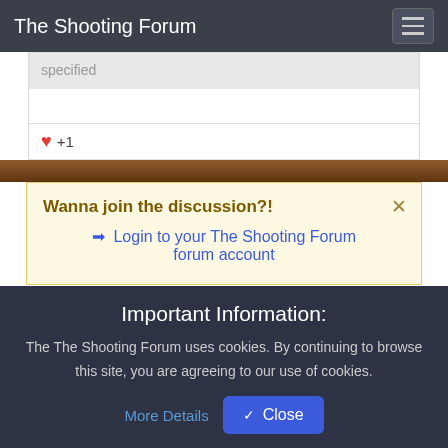The Shooting Forum
specified
♥ +1
Wanna join the discussion?!
➡ Login to your The Shooting Forum forum account
Important Information:
The The Shooting Forum uses cookies. By continuing to browse this site, you are agreeing to our use of cookies. More Details Close